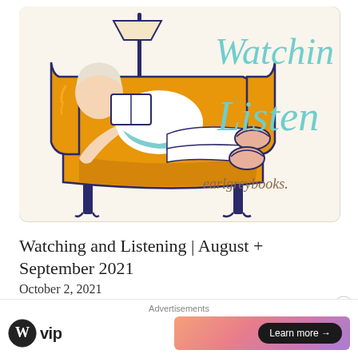[Figure (illustration): Illustration of a person relaxing in an orange armchair reading a book, with a floor lamp behind them. Text 'Watching...' and 'Listen' in teal handwritten font on the right side, and 'earlgreybooks.' in brown handwritten font at the bottom right. Cream/beige background.]
Watching and Listening | August + September 2021
October 2, 2021
Advertisements